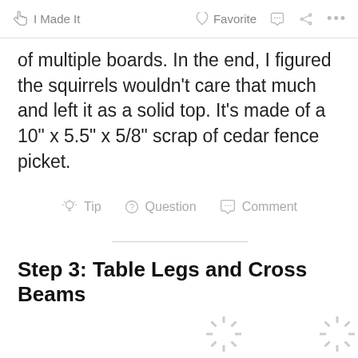I Made It   Favorite   Comment   Share   ...
of multiple boards. In the end, I figured the squirrels wouldn't care that much and left it as a solid top. It's made of a 10" x 5.5" x 5/8" scrap of cedar fence picket.
Tip   Question   Comment
Step 3: Table Legs and Cross Beams
[Figure (other): Two loading spinner icons at the bottom of the page indicating images are loading]